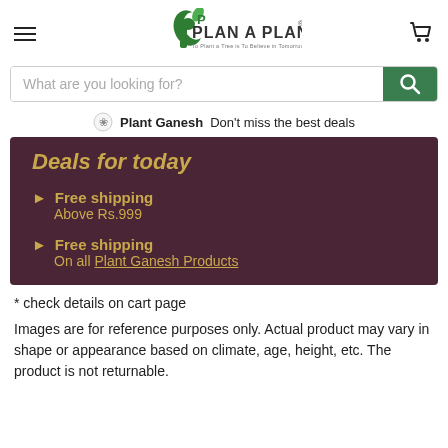Plan A Plant
What are you looking for?
Plant Ganesh  Don't miss the best deals
[Figure (screenshot): Deals for today promotional banner with dark maroon background. Lists: Free shipping Above Rs.999, Free shipping On all Plant Ganesh Products]
* check details on cart page
Images are for reference purposes only. Actual product may vary in shape or appearance based on climate, age, height, etc. The product is not returnable.